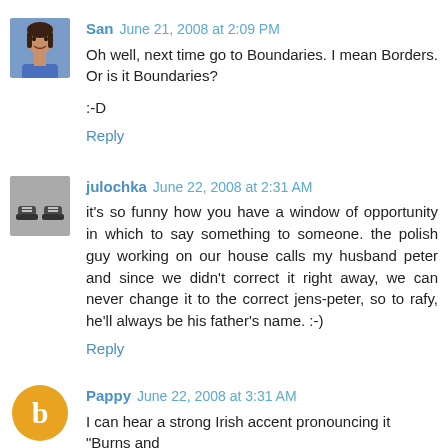[Figure (photo): Avatar photo of San, a woman with dark hair wearing a blue top]
San June 21, 2008 at 2:09 PM
Oh well, next time go to Boundaries. I mean Borders. Or is it Boundaries?

:-D
Reply
[Figure (photo): Avatar photo of julochka, showing a pair of shoes]
julochka June 22, 2008 at 2:31 AM
it's so funny how you have a window of opportunity in which to say something to someone. the polish guy working on our house calls my husband peter and since we didn't correct it right away, we can never change it to the correct jens-peter, so to rafy, he'll always be his father's name. :-)
Reply
[Figure (logo): Blogger avatar icon, orange circle with white letter b]
Pappy June 22, 2008 at 3:31 AM
I can hear a strong Irish accent pronouncing it "Burns and